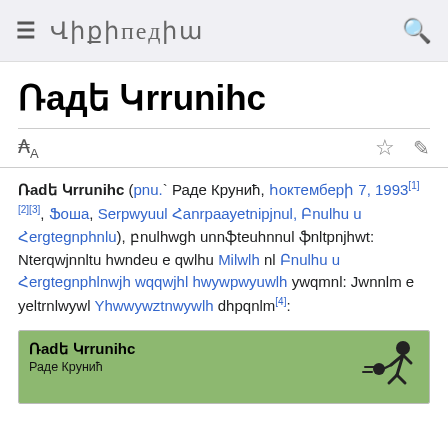ՎԻՔԻՊԵԴԻԱ
Ռադե Կրունիhc
Ռադե Կրունիhc (pnu.` Раде Крунић, հոկտեմбերի 7, 1993[1][2][3], Ֆոշա, Սerbական Հանrpaayetnnpjnul, Բoulhu u Հergtegnphnlu), բnulhwgh unnֆteuhnnul ֆnltpnjhwt: Nterqwjnnltu hwndeu e qwlhu Միlwlh nl Բnulhu u Հergtegnphlnwjh wqqwjhl hwywpwywlh ywqmnl: Jwnnlm e yeltrnlwywl Yhwwywztnwywlh dhpqnlm[4]:
[Figure (infographic): Infobox with Armenian title Ռadե Կrrunihc and Serbian subtitle Раде Крунић with a footballer silhouette icon on green background]